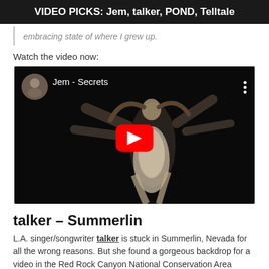VIDEO PICKS: Jem, talker, POND, Telltale
embracing state of where I grew up.
Watch the video now:
[Figure (screenshot): YouTube video embed thumbnail for 'Jem - Secrets' showing a dancer in white dress on black background with red YouTube play button, channel avatar, and three-dot menu icon.]
talker – Summerlin
L.A. singer/songwriter talker is stuck in Summerlin, Nevada for all the wrong reasons. But she found a gorgeous backdrop for a video in the Red Rock Canyon National Conservation Area